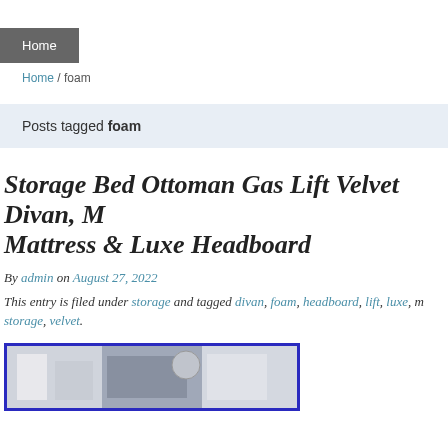Home
Home / foam
Posts tagged foam
Storage Bed Ottoman Gas Lift Velvet Divan, M Mattress & Luxe Headboard
By admin on August 27, 2022
This entry is filed under storage and tagged divan, foam, headboard, lift, luxe, m storage, velvet.
[Figure (photo): Photo of a bedroom with a storage bed ottoman, showing a bed with headboard against a wall with a clock decoration]